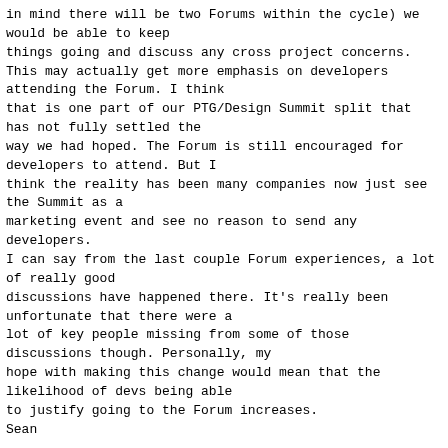in mind there will be two Forums within the cycle) we would be able to keep
things going and discuss any cross project concerns.
This may actually get more emphasis on developers attending the Forum. I think
that is one part of our PTG/Design Summit split that has not fully settled the
way we had hoped. The Forum is still encouraged for developers to attend. But I
think the reality has been many companies now just see the Summit as a
marketing event and see no reason to send any developers.
I can say from the last couple Forum experiences, a lot of really good
discussions have happened there. It's really been unfortunate that there were a
lot of key people missing from some of those discussions though. Personally, my
hope with making this change would mean that the likelihood of devs being able
to justify going to the Forum increases.
Sean